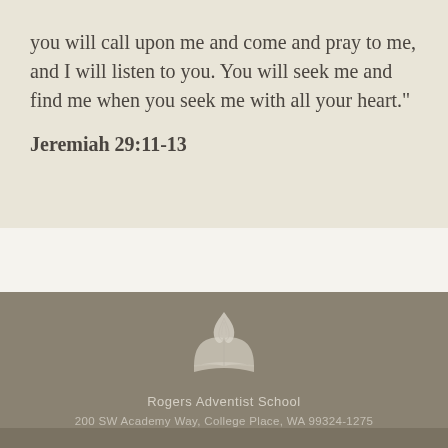you will call upon me and come and pray to me, and I will listen to you. You will seek me and find me when you seek me with all your heart."
Jeremiah 29:11-13
[Figure (logo): Seventh-day Adventist Church flame and open book logo in light gray/white]
Rogers Adventist School
200 SW Academy Way, College Place, WA 99324-1275